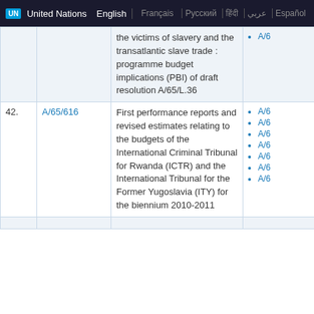UN United Nations English | Français | Русский | हिन्दी | عربي | Español
|  | Document | Title | Related documents |
| --- | --- | --- | --- |
|  |  | the victims of slavery and the transatlantic slave trade : programme budget implications (PBI) of draft resolution A/65/L.36 | • A/6... |
| 42. | A/65/616 | First performance reports and revised estimates relating to the budgets of the International Criminal Tribunal for Rwanda (ICTR) and the International Tribunal for the Former Yugoslavia (ITY) for the biennium 2010-2011 | • A/6...
• A/6...
• A/6...
• A/6...
• A/6...
• A/6...
• A/6... |